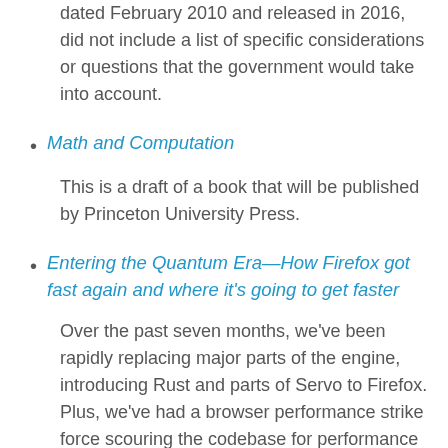dated February 2010 and released in 2016, did not include a list of specific considerations or questions that the government would take into account.
Math and Computation
This is a draft of a book that will be published by Princeton University Press.
Entering the Quantum Era—How Firefox got fast again and where it's going to get faster
Over the past seven months, we've been rapidly replacing major parts of the engine, introducing Rust and parts of Servo to Firefox. Plus, we've had a browser performance strike force scouring the codebase for performance issues, both obvious and